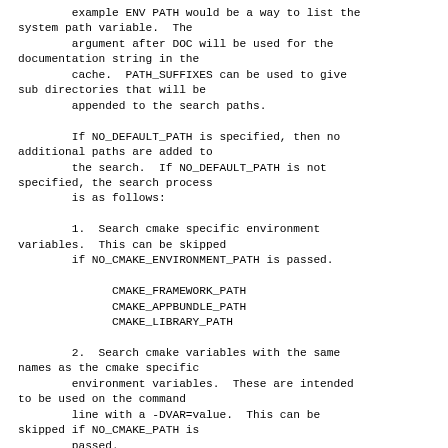example ENV PATH would be a way to list the system path variable.  The
        argument after DOC will be used for the documentation string in the
        cache.  PATH_SUFFIXES can be used to give sub directories that will be
        appended to the search paths.

        If NO_DEFAULT_PATH is specified, then no additional paths are added to
        the search.  If NO_DEFAULT_PATH is not specified, the search process
        is as follows:

        1.  Search cmake specific environment variables.  This can be skipped
        if NO_CMAKE_ENVIRONMENT_PATH is passed.

              CMAKE_FRAMEWORK_PATH
              CMAKE_APPBUNDLE_PATH
              CMAKE_LIBRARY_PATH

        2.  Search cmake variables with the same names as the cmake specific
        environment variables.  These are intended to be used on the command
        line with a -DVAR=value.  This can be skipped if NO_CMAKE_PATH is
        passed.

              CMAKE_FRAMEWORK_PATH
              CMAKE_APPBUNDLE_PATH
              CMAKE_LIBRARY_PATH
1.  Search cmake specific environment variables.  This can be skipped if NO_CMAKE_ENVIRONMENT_PATH is passed.

    CMAKE_FRAMEWORK_PATH
    CMAKE_APPBUNDLE_PATH
    CMAKE_LIBRARY_PATH
2.  Search cmake variables with the same names as the cmake specific environment variables.  These are intended to be used on the command line with a -DVAR=value.  This can be skipped if NO_CMAKE_PATH is passed.

    CMAKE_FRAMEWORK_PATH
    CMAKE_APPBUNDLE_PATH
    CMAKE_LIBRARY_PATH